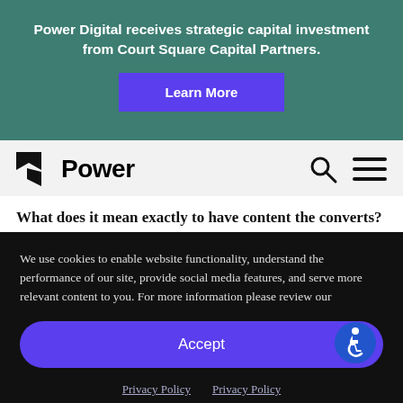Power Digital receives strategic capital investment from Court Square Capital Partners.
Learn More
[Figure (logo): Power Digital company logo with stylized flag icon and wordmark 'Power', plus search and menu icons]
What does it mean exactly to have content the converts?
We use cookies to enable website functionality, understand the performance of our site, provide social media features, and serve more relevant content to you. For more information please review our
Accept
Privacy Policy   Privacy Policy